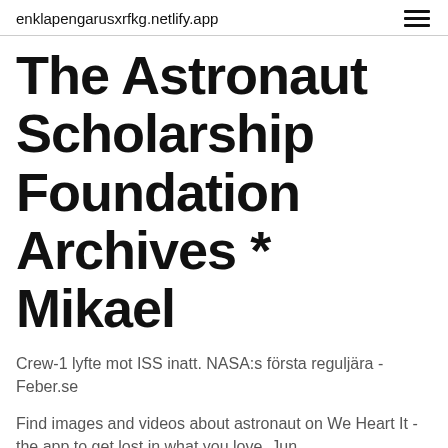enklapengarusxrfkg.netlify.app
The Astronaut Scholarship Foundation Archives * Mikael
Crew-1 lyfte mot ISS inatt. NASA:s första reguljära - Feber.se
Find images and videos about astronaut on We Heart It - the app to get lost in what you love. Jun